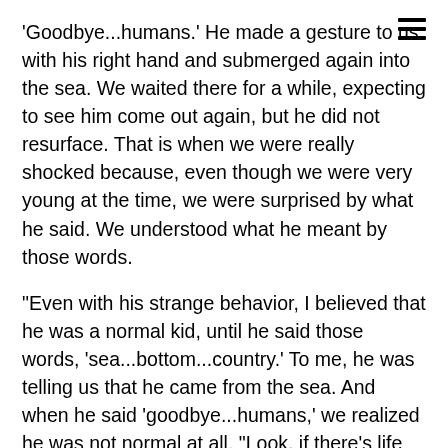'Goodbye...humans.' He made a gesture to us with his right hand and submerged again into the sea. We waited there for a while, expecting to see him come out again, but he did not resurface. That is when we were really shocked because, even though we were very young at the time, we were surprised by what he said. We understood what he meant by those words.
"Even with his strange behavior, I believed that he was a normal kid, until he said those words, 'sea...bottom...country.' To me, he was telling us that he came from the sea. And when he said 'goodbye...humans,' we realized he was not normal at all. "Look, if there's life and intelligent beings on our planet, there could very well be life on other planets, too. Perhaps, everything we are seeing here around Vieques has to do with the fact that we are not alone in this universe... that other beings are visiting us.